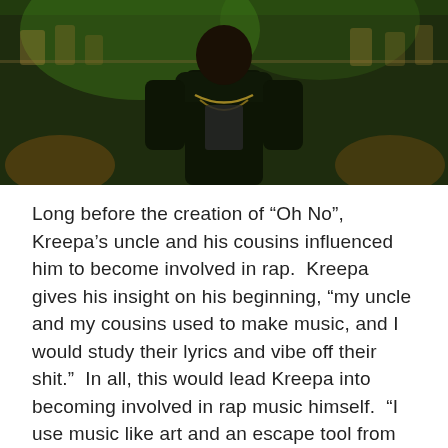[Figure (photo): A person wearing a black t-shirt and gold chains, photographed under green ambient lighting in what appears to be a bar or club setting.]
Long before the creation of “Oh No”, Kreepa’s uncle and his cousins influenced him to become involved in rap.  Kreepa gives his insight on his beginning, “my uncle and my cousins used to make music, and I would study their lyrics and vibe off their shit.”  In all, this would lead Kreepa into becoming involved in rap music himself.  “I use music like art and an escape tool from everyday life.  So, I write a lot about how I feel, but if I’m turned up that day or in a good mood I could make a hit in 10 minutes”, as Kreepa answers when asked about the subject matter of his music.